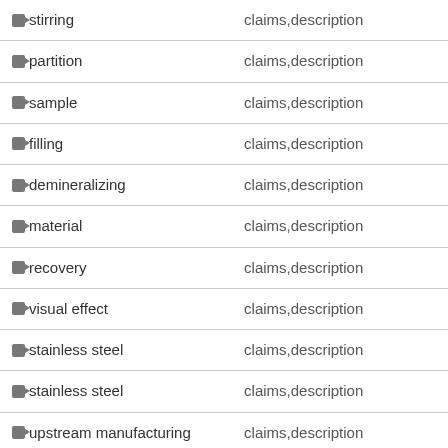| Term | Source |
| --- | --- |
| stirring | claims,description |
| partition | claims,description |
| sample | claims,description |
| filling | claims,description |
| demineralizing | claims,description |
| material | claims,description |
| recovery | claims,description |
| visual effect | claims,description |
| stainless steel | claims,description |
| stainless steel | claims,description |
| upstream manufacturing | claims,description |